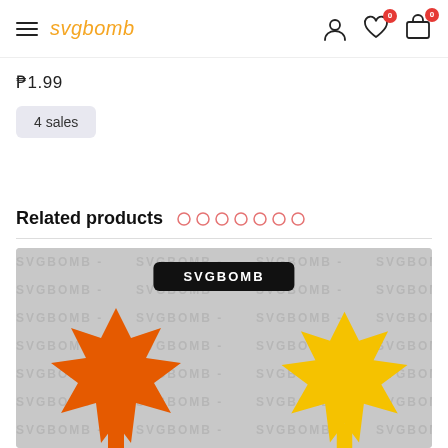svgbomb
₱1.99
4 sales
Related products
[Figure (photo): Two maple leaf SVG icons — one orange, one yellow — on a watermarked SVGBOMB background, with a black SVGBOMB label bar at the top of the image.]